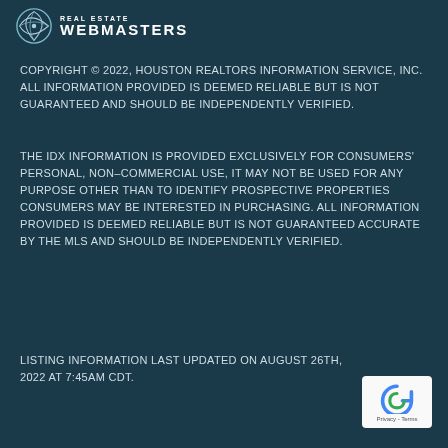[Figure (logo): Real Estate Webmasters logo — compass/leaf icon with text REAL ESTATE WEBMASTERS]
COPYRIGHT © 2022, HOUSTON REALTORS INFORMATION SERVICE, INC. ALL INFORMATION PROVIDED IS DEEMED RELIABLE BUT IS NOT GUARANTEED AND SHOULD BE INDEPENDENTLY VERIFIED.
THE IDX INFORMATION IS PROVIDED EXCLUSIVELY FOR CONSUMERS' PERSONAL, NON-COMMERCIAL USE, IT MAY NOT BE USED FOR ANY PURPOSE OTHER THAN TO IDENTIFY PROSPECTIVE PROPERTIES CONSUMERS MAY BE INTERESTED IN PURCHASING. ALL INFORMATION PROVIDED IS DEEMED RELIABLE BUT IS NOT GUARANTEED ACCURATE BY THE MLS AND SHOULD BE INDEPENDENTLY VERIFIED.
LISTING INFORMATION LAST UPDATED ON AUGUST 26TH, 2022 AT 7:45AM CDT.
[Figure (logo): Google reCAPTCHA badge with blue circular arrow icon and Privacy - Terms text]